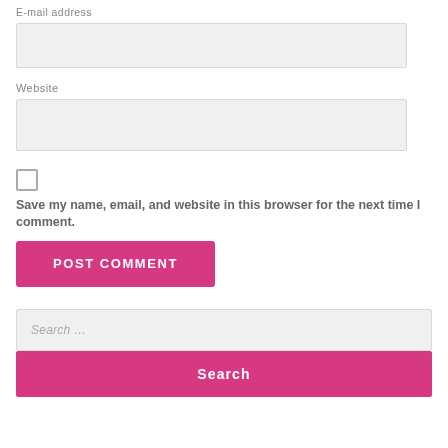E-mail address
Website
Save my name, email, and website in this browser for the next time I comment.
POST COMMENT
Search …
Search